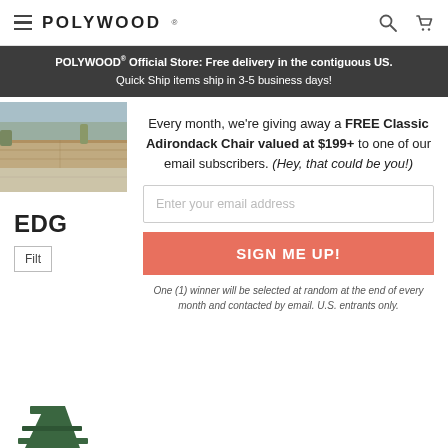POLYWOOD
POLYWOOD® Official Store: Free delivery in the contiguous US. Quick Ship items ship in 3-5 business days!
[Figure (photo): Outdoor patio landscaping with stone retaining wall, grasses, and paved area under blue sky]
Every month, we're giving away a FREE Classic Adirondack Chair valued at $199+ to one of our email subscribers. (Hey, that could be you!)
Enter your email address
SIGN ME UP!
One (1) winner will be selected at random at the end of every month and contacted by email. U.S. entrants only.
EDG
Filt